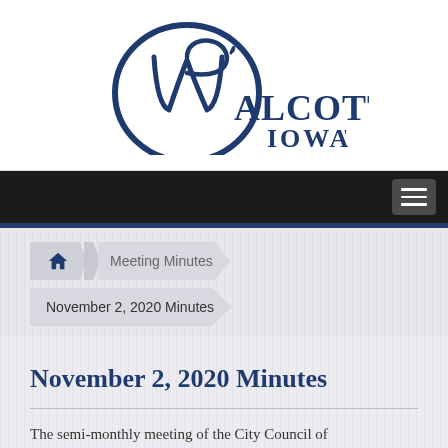[Figure (logo): Walcott Iowa city logo — stylized W/P monogram in dark blue with 'WALCOTT, IOWA' text]
Navigation bar with hamburger menu
Meeting Minutes > November 2, 2020 Minutes (breadcrumb)
November 2, 2020 Minutes
The semi-monthly meeting of the City Council of